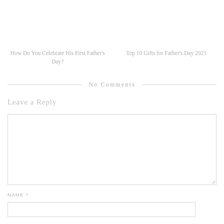How Do You Celebrate His First Father's Day?
Top 10 Gifts for Father's Day 2021
No Comments
Leave a Reply
NAME *